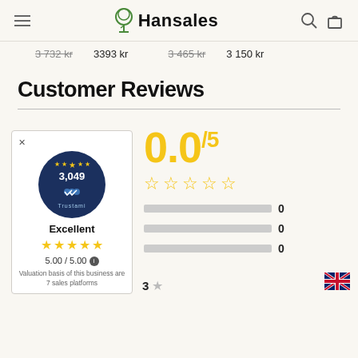Hansales
3 732 kr  3393 kr    3 465 kr  3 150 kr
Customer Reviews
[Figure (infographic): Trustami badge widget showing 3,049 reviews, Excellent rating, 5.00/5.00 stars, Valuation basis of this business are 7 sales platforms]
0.0/5
0
0
0
3